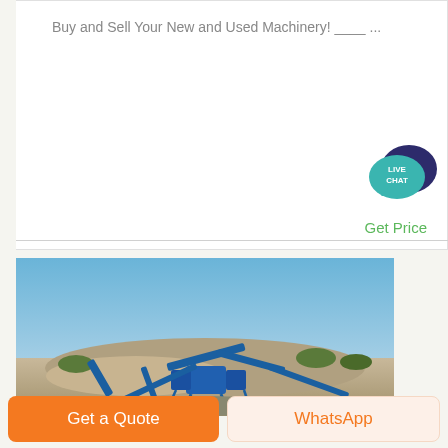Buy and Sell Your New and Used Machinery! ____ ...
[Figure (illustration): Live Chat speech bubble icon — teal foreground bubble with 'LIVE CHAT' text and dark navy background bubble]
Get Price
[Figure (photo): Outdoor photograph of industrial mining/crushing machinery (blue conveyors and crushers) in an arid landscape under a clear blue sky]
Get a Quote
WhatsApp